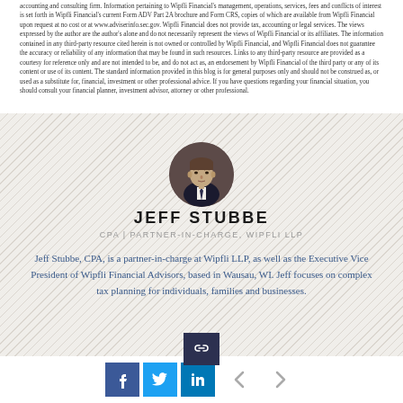accounting and consulting firm. Information pertaining to Wipfli Financial's management, operations, services, fees and conflicts of interest is set forth in Wipfli Financial's current Form ADV Part 2A brochure and Form CRS, copies of which are available from Wipfli Financial upon request at no cost or at www.adviserinfo.sec.gov. Wipfli Financial does not provide tax, accounting or legal services. The views expressed by the author are the author's alone and do not necessarily represent the views of Wipfli Financial or its affiliates. The information contained in any third-party resource cited herein is not owned or controlled by Wipfli Financial, and Wipfli Financial does not guarantee the accuracy or reliability of any information that may be found in such resources. Links to any third-party resource are provided as a courtesy for reference only and are not intended to be, and do not act as, an endorsement by Wipfli Financial of the third party or any of its content or use of its content. The standard information provided in this blog is for general purposes only and should not be construed as, or used as a substitute for, financial, investment or other professional advice. If you have questions regarding your financial situation, you should consult your financial planner, investment advisor, attorney or other professional.
[Figure (photo): Circular portrait photo of Jeff Stubbe, a man in a dark suit and tie with a neutral expression, against a dark background.]
JEFF STUBBE
CPA | PARTNER-IN-CHARGE, WIPFLI LLP
Jeff Stubbe, CPA, is a partner-in-charge at Wipfli LLP, as well as the Executive Vice President of Wipfli Financial Advisors, based in Wausau, WI. Jeff focuses on complex tax planning for individuals, families and businesses.
[Figure (other): Social sharing icons row: link icon (dark navy), Facebook (dark blue), Twitter (light blue), LinkedIn (medium blue), left arrow navigation, right arrow navigation.]